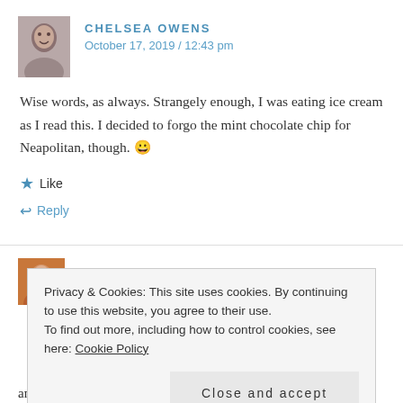CHELSEA OWENS
October 17, 2019 / 12:43 pm
Wise words, as always. Strangely enough, I was eating ice cream as I read this. I decided to forgo the mint chocolate chip for Neapolitan, though. 😀
Like
Reply
PETESPRINGERAUTHOR
Privacy & Cookies: This site uses cookies. By continuing to use this website, you agree to their use.
To find out more, including how to control cookies, see here: Cookie Policy
Close and accept
and I follow about the same amount of people. I only post